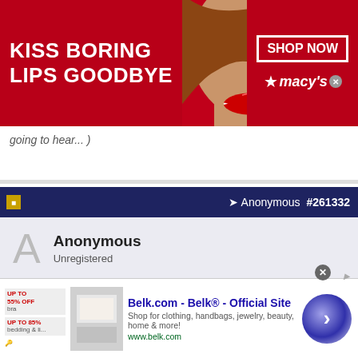[Figure (photo): Macy's advertisement banner: red background with bold white text 'KISS BORING LIPS GOODBYE', close-up photo of woman's face with red lips, 'SHOP NOW' button outline, and Macy's star logo]
going to hear... )
Anonymous  #261332
Anonymous
Unregistered
Originally Posted by Anonymous
OMG Is Tracy Weiner making you sick announcing the SB game.
Yes!!!!!
[Figure (screenshot): Belk.com advertisement: 'Belk.com - Belk® - Official Site', Shop for clothing, handbags, jewelry, beauty, home & more!, www.belk.com, with thumbnail image and navigation arrow]